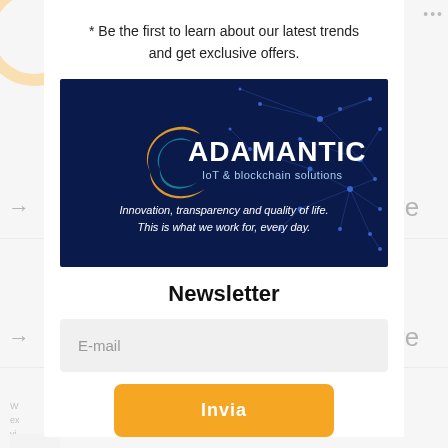* Be the first to learn about our latest trends and get exclusive offers.
[Figure (logo): Adamantic IoT & blockchain solutions logo on dark blue background with network graphic. Text: 'Innovation, transparency and quality of life. This is what we work for, every day.']
Newsletter
E-mail
Invia